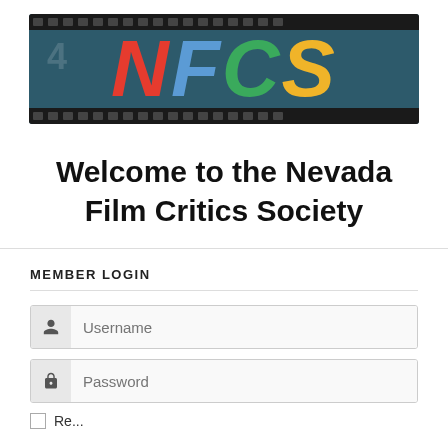[Figure (logo): NFCS logo banner with dark teal background and film strip edges. Large letters N (red), F (blue), C (green), S (yellow) in italic bold style. Number 4 faintly visible on left.]
Welcome to the Nevada Film Critics Society
MEMBER LOGIN
Username
Password
Remember Me